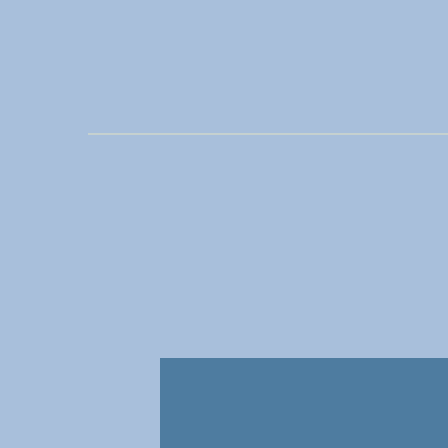[Figure (other): Decorative horizontal divider line in light yellow/cream color across the upper portion of a light blue background page]
[Figure (other): Grid layout of blue rectangular cards on a lighter blue background. Visible card labeled 'Teaching Activities' and partial card labeled 'Th...' to the right. Additional partial cards visible at bottom.]